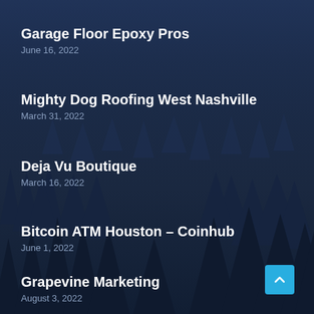Garage Floor Epoxy Pros
June 16, 2022
Mighty Dog Roofing West Nashville
March 31, 2022
Deja Vu Boutique
March 16, 2022
Bitcoin ATM Houston – Coinhub
June 1, 2022
Grapevine Marketing
August 3, 2022